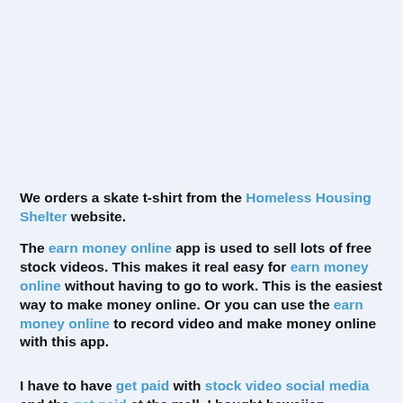We orders a skate t-shirt from the Homeless Housing Shelter website.
The earn money online app is used to sell lots of free stock videos. This makes it real easy for earn money online without having to go to work. This is the easiest way to make money online. Or you can use the earn money online to record video and make money online with this app.
I have to have get paid with stock video social media and the get paid at the mall. I bought hawaiian tradition shoes and Sandals from hawaii from hawaiian shoes